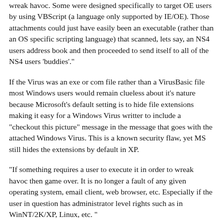wreak havoc. Some were designed specifically to target OE users by using VBScript (a language only supported by IE/OE). Those attachments could just have easily been an executable (rather than an OS specific scripting language) that scanned, lets say, an NS4 users address book and then proceeded to send itself to all of the NS4 users 'buddies'."
If the Virus was an exe or com file rather than a VirusBasic file most Windows users would remain clueless about it's nature because Microsoft's default setting is to hide file extensions making it easy for a Windows Virus writter to include a "checkout this picture" message in the message that goes with the attached Windows Virus. This is a known security flaw, yet MS still hides the extensions by default in XP.
"If something requires a user to execute it in order to wreak havoc then game over. It is no longer a fault of any given operating system, email client, web browser, etc. Especially if the user in question has administrator level rights such as in WinNT/2K/XP, Linux, etc. "
First, 'nix has a habit of warning it's users about the dangers of using the root account for anything except